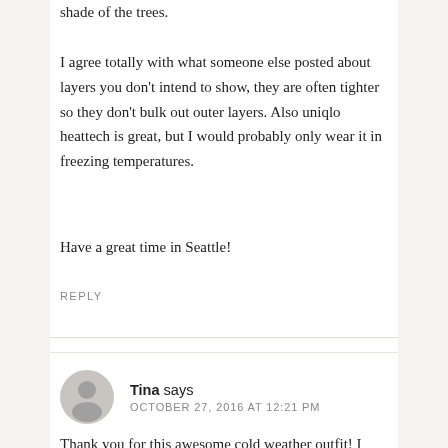shade of the trees.
I agree totally with what someone else posted about layers you don’t intend to show, they are often tighter so they don’t bulk out outer layers. Also uniqlo heattech is great, but I would probably only wear it in freezing temperatures.
Have a great time in Seattle!
REPLY
Tina says
OCTOBER 27, 2016 AT 12:21 PM
Thank you for this awesome cold weather outfit! I